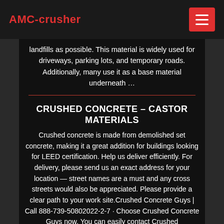AMC-crusher
landfills as possible. This material is widely used for driveways, parking lots, and temporary roads. Additionally, many use it as a base material underneath …
CRUSHED CONCRETE – CASTOR MATERIALS
Crushed concrete is made from demolished set concrete, making it a great addition for buildings looking for LEED certification. Help us deliver efficiently. For delivery, please send us an exact address for your location — street names are a must and any cross streets would also be appreciated. Please provide a clear path to your work site.Crushed Concrete Guys | Call 888-739-50802022-2-7 · Choose Crushed Concrete Guys now. You can easily contact Crushed